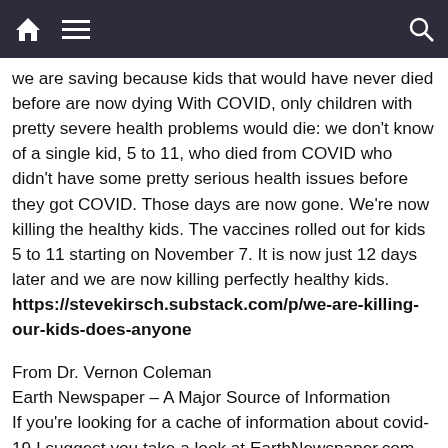[Navigation bar with home, menu, and search icons]
we are saving because kids that would have never died before are now dying With COVID, only children with pretty severe health problems would die: we don't know of a single kid, 5 to 11, who died from COVID who didn't have some pretty serious health issues before they got COVID. Those days are now gone. We're now killing the healthy kids. The vaccines rolled out for kids 5 to 11 starting on November 7. It is now just 12 days later and we are now killing perfectly healthy kids. https://stevekirsch.substack.com/p/we-are-killing-our-kids-does-anyone
From Dr. Vernon Coleman
Earth Newspaper – A Major Source of Information
If you're looking for a cache of information about covid-19 I suggest you take a look at EarthNewspaper.com which contains over 2,250 articles about covid-19 – it is said to be the largest archive of covid-19 articles and videos online and